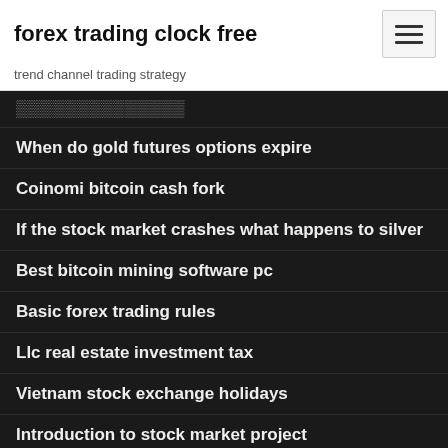forex trading clock free
trend channel trading strategy
When do gold futures options expire
Coinomi bitcoin cash fork
If the stock market crashes what happens to silver
Best bitcoin mining software pc
Basic forex trading rules
Llc real estate investment tax
Vietnam stock exchange holidays
Introduction to stock market project
Level 2 stock quotes app
How to buy stock share in myanmar